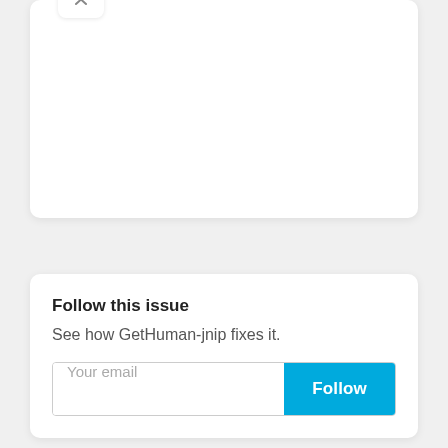[Figure (screenshot): Close/collapse button (X) at top of a card panel]
Follow this issue
See how GetHuman-jnip fixes it.
Your email [input field] Follow [button]